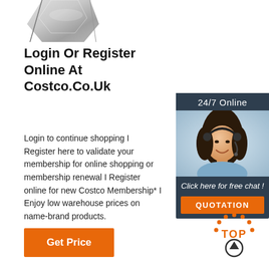[Figure (photo): Partial product image (metallic/silver appliance or device) at top left, cropped]
Login Or Register Online At Costco.Co.Uk
Login to continue shopping I Register here to validate your membership for online shopping or membership renewal I Register online for new Costco Membership* I Enjoy low warehouse prices on name-brand products.
[Figure (infographic): Chat widget advertisement: dark background with '24/7 Online' header, photo of woman wearing headset smiling, text 'Click here for free chat!', orange QUOTATION button]
[Figure (other): Orange dotted arc 'TOP' back-to-top icon with upward arrow circle]
[Figure (other): Orange 'Get Price' button]